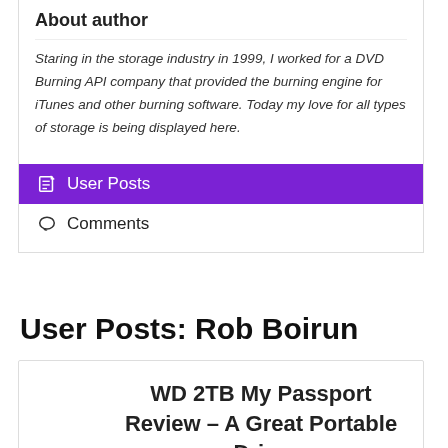About author
Staring in the storage industry in 1999, I worked for a DVD Burning API company that provided the burning engine for iTunes and other burning software. Today my love for all types of storage is being displayed here.
User Posts
Comments
User Posts: Rob Boirun
WD 2TB My Passport Review – A Great Portable Drive